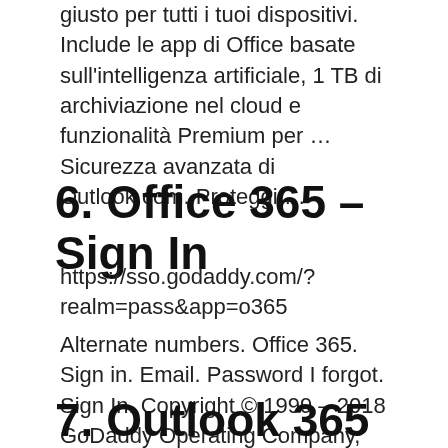giusto per tutti i tuoi dispositivi. Include le app di Office basate sull'intelligenza artificiale, 1 TB di archiviazione nel cloud e funzionalità Premium per … Sicurezza avanzata di Outlook.com. Proteggi …
6. Office 365 – Sign In
https://sso.godaddy.com/?realm=pass&app=o365
Alternate numbers. Office 365. Sign in. Email. Password I forgot. Sign In. Copyright © 1999 – 2018 GoDaddy Operating Company, LLC. All Rights Reserved.
7. Outlook 365 Login